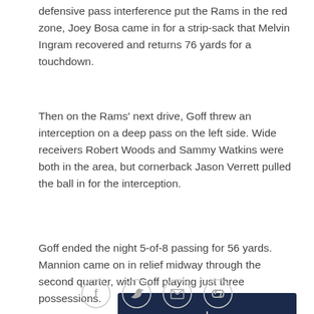defensive pass interference put the Rams in the red zone, Joey Bosa came in for a strip-sack that Melvin Ingram recovered and returns 76 yards for a touchdown.
Then on the Rams' next drive, Goff threw an interception on a deep pass on the left side. Wide receivers Robert Woods and Sammy Watkins were both in the area, but cornerback Jason Verrett pulled the ball in for the interception.
Goff ended the night 5-of-8 passing for 56 yards. Mannion came on in relief midway through the second quarter, with Goff playing just three possessions.
[Figure (logo): Dark navy background banner with a white S logo on the left and a partial LA Rams logo (yellow and blue horns) on the right, separated by a white vertical line.]
[Figure (other): Row of four circular social sharing icon buttons: Facebook (f), Twitter (bird), Email (envelope), Link/copy icon.]